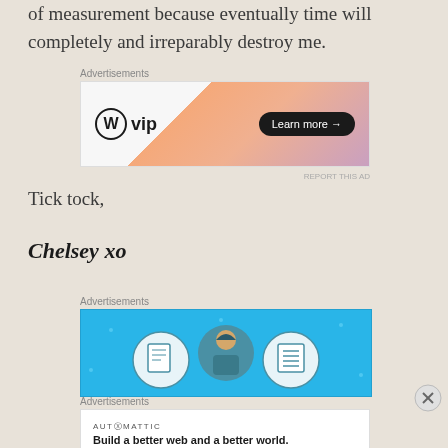of measurement because eventually time will completely and irreparably destroy me.
[Figure (other): WordPress VIP advertisement banner with orange gradient and 'Learn more' button]
Tick tock,
Chelsey xo
[Figure (other): Blue advertisement banner with illustrated figures showing notebooks and a character]
[Figure (other): Automattic advertisement: 'Build a better web and a better world.']